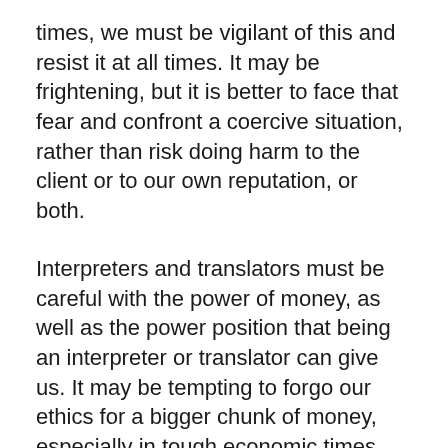times, we must be vigilant of this and resist it at all times. It may be frightening, but it is better to face that fear and confront a coercive situation, rather than risk doing harm to the client or to our own reputation, or both.
Interpreters and translators must be careful with the power of money, as well as the power position that being an interpreter or translator can give us. It may be tempting to forgo our ethics for a bigger chunk of money, especially in tough economic times, but it is not worth the risk. As the book states, financial arrangements should be transparent and documented at all times. Any “kickbacks”, to me, should be seen as a form of coercion and thus be avoided always. As for the position of power, I/T professionals must be